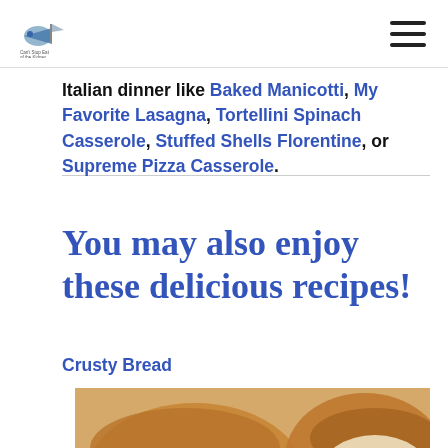[logo] [hamburger menu]
Italian dinner like Baked Manicotti, My Favorite Lasagna, Tortellini Spinach Casserole, Stuffed Shells Florentine, or Supreme Pizza Casserole.
You may also enjoy these delicious recipes!
Crusty Bread
[Figure (photo): Close-up photo of sliced crusty bread loaves with golden-brown crust and airy crumb, with a 'CLOSE' button overlay in the lower right corner.]